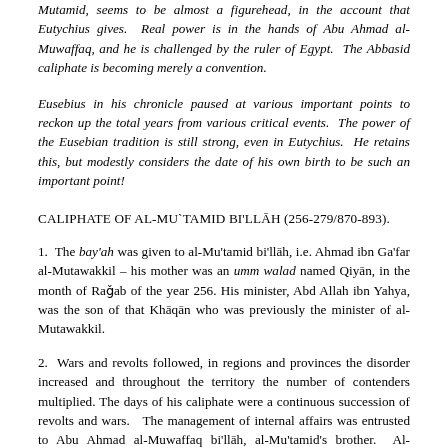Mutamid, seems to be almost a figurehead, in the account that Eutychius gives. Real power is in the hands of Abu Ahmad al-Muwaffaq, and he is challenged by the ruler of Egypt. The Abbasid caliphate is becoming merely a convention.
Eusebius in his chronicle paused at various important points to reckon up the total years from various critical events. The power of the Eusebian tradition is still strong, even in Eutychius. He retains this, but modestly considers the date of his own birth to be such an important point!
CALIPHATE OF AL-MU`TAMID BI'LLĀH (256-279/870-893).
1. The bay'ah was given to al-Mu'tamid bi'llāh, i.e. Ahmad ibn Ga'far al-Mutawakkil – his mother was an umm walad named Qiyān, in the month of Raǧab of the year 256. His minister, Abd Allah ibn Yahya, was the son of that Khāqān who was previously the minister of al-Mutawakkil.
2. Wars and revolts followed, in regions and provinces the disorder increased and throughout the territory the number of contenders multiplied. The days of his caliphate were a continuous succession of revolts and wars. The management of internal affairs was entrusted to Abu Ahmad al-Muwaffaq bi'llāh, al-Mu'tamid's brother. Al-Mu'tamid named as his successor his son Ga'far, calling him al-Mufawwid ilà'llāh, and after him, his brother Abū